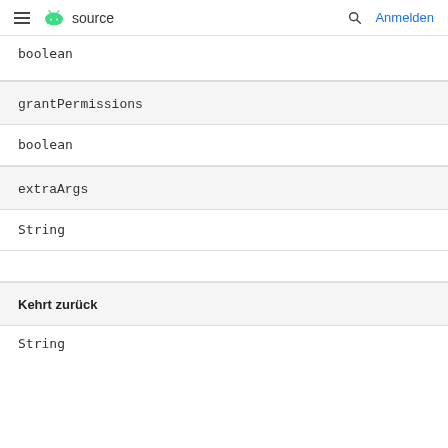= android source   [search] Anmelden
boolean
grantPermissions
boolean
extraArgs
String
Kehrt zurück
String